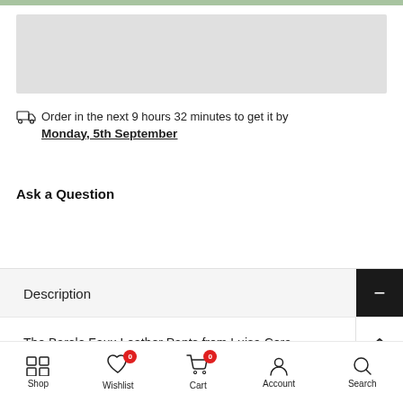[Figure (other): Gray image placeholder for product photo]
Order in the next 9 hours 32 minutes to get it by Monday, 5th September
Ask a Question
Description
The Barolo Faux Leather Pants from Luisa Cera
Shop  Wishlist 0  Cart 0  Account  Search